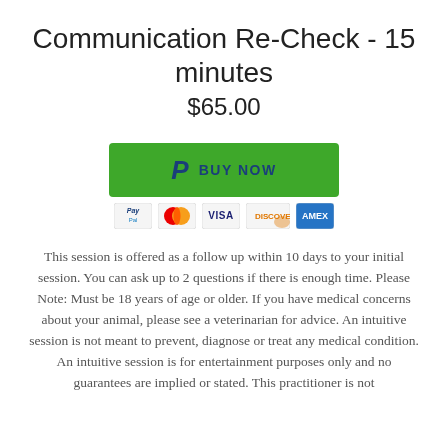Communication Re-Check - 15 minutes
$65.00
[Figure (other): Green PayPal Buy Now button with payment method icons (PayPal, Mastercard, Visa, Discover, American Express)]
This session is offered as a follow up within 10 days to your initial session. You can ask up to 2 questions if there is enough time. Please Note: Must be 18 years of age or older. If you have medical concerns about your animal, please see a veterinarian for advice. An intuitive session is not meant to prevent, diagnose or treat any medical condition. An intuitive session is for entertainment purposes only and no guarantees are implied or stated. This practitioner is not